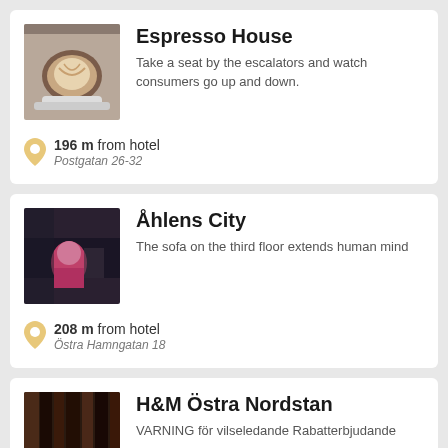Espresso House
Take a seat by the escalators and watch consumers go up and down.
196 m from hotel
Postgatan 26-32
Åhlens City
The sofa on the third floor extends human mind
208 m from hotel
Östra Hamngatan 18
H&M Östra Nordstan
VARNING för vilseledande Rabatterbjudande